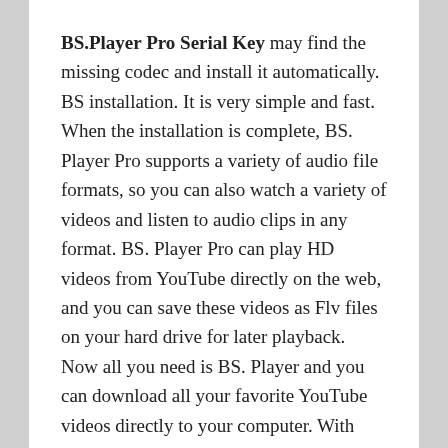BS.Player Pro Serial Key may find the missing codec and install it automatically. BS installation. It is very simple and fast. When the installation is complete, BS. Player Pro supports a variety of audio file formats, so you can also watch a variety of videos and listen to audio clips in any format. BS. Player Pro can play HD videos from YouTube directly on the web, and you can save these videos as Flv files on your hard drive for later playback. Now all you need is BS. Player and you can download all your favorite YouTube videos directly to your computer. With BS. Player Pro, you can drag and drop files from anywhere on your computer to BS.Player and have fun getting started.